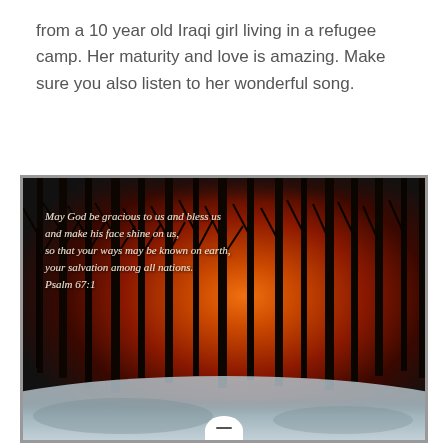from a 10 year old Iraqi girl living in a refugee camp. Her maturity and love is amazing. Make sure you also listen to her wonderful song.
[Figure (photo): A winter sunset photograph showing bare tree silhouettes against a vivid orange and red sky, with snow on the ground. Overlaid italic text reads: 'May God be gracious to us and bless us and make his face shine on us, so that your ways may be known on earth, your salvation among all nations. Psalm 67:1']